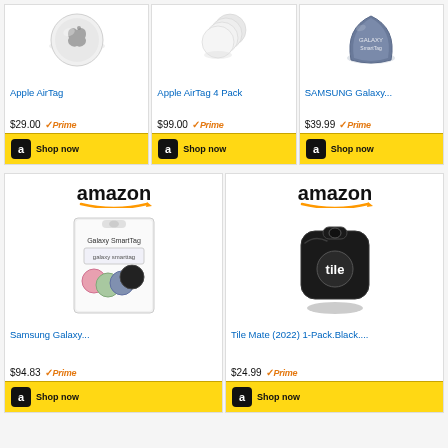[Figure (screenshot): Amazon product listing for Apple AirTag showing product image, price $29.00, Prime badge, and Shop now button]
[Figure (screenshot): Amazon product listing for Apple AirTag 4 Pack showing product image, price $99.00, Prime badge, and Shop now button]
[Figure (screenshot): Amazon product listing for SAMSUNG Galaxy SmartTag showing product image, price $39.99, Prime badge, and Shop now button]
[Figure (screenshot): Amazon product listing for Samsung Galaxy SmartTag 4-pack showing product image, price $94.83, Prime badge, and Shop now button]
[Figure (screenshot): Amazon product listing for Tile Mate (2022) 1-Pack Black showing product image, price $24.99, Prime badge, and Shop now button]